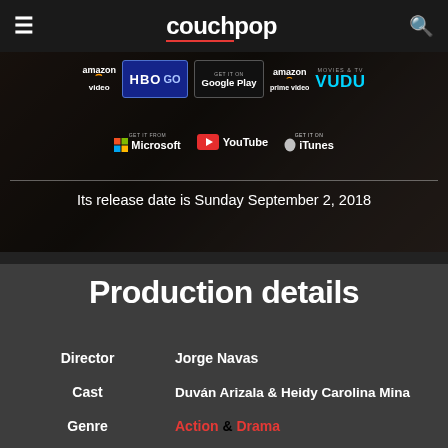couchpop
[Figure (screenshot): Streaming platform logos: Amazon Video, HBO GO, Google Play, Amazon Prime Video, VUDU, Microsoft, YouTube, iTunes, shown on a dark background banner]
Its release date is Sunday September 2, 2018
Production details
Director   Jorge Navas
Cast   Duván Arizala & Heidy Carolina Mina
Genre   Action & Drama